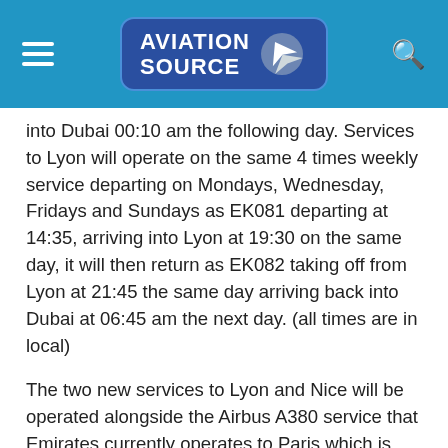Aviation Source
into Dubai 00:10 am the following day. Services to Lyon will operate on the same 4 times weekly service departing on Mondays, Wednesday, Fridays and Sundays as EK081 departing at 14:35, arriving into Lyon at 19:30 on the same day, it will then return as EK082 taking off from Lyon at 21:45 the same day arriving back into Dubai at 06:45 am the next day. (all times are in local)
The two new services to Lyon and Nice will be operated alongside the Airbus A380 service that Emirates currently operates to Paris which is operating on a 14 times weekly schedule, the plane that operates the service is also offering the airlines brand new Premium economy package which was launched earlier this year as the carrier attempt to bridge a gap between economy and business passengers.